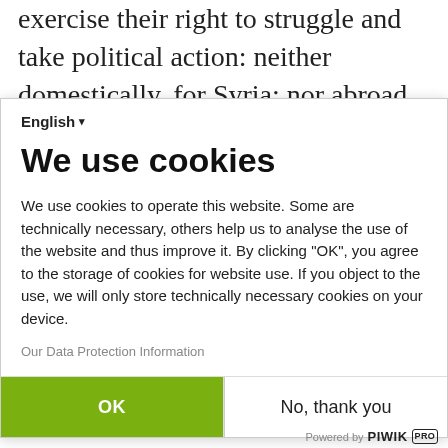exercise their right to struggle and take political action: neither domestically, for Syria; nor abroad, for Armenia. Thus a medium that contained the Armenians was formed, as well as a protective membrane which had the appearance, from the
English ▾
We use cookies
We use cookies to operate this website. Some are technically necessary, others help us to analyse the use of the website and thus improve it. By clicking "OK", you agree to the storage of cookies for website use. If you object to the use, we will only store technically necessary cookies on your device.
Our Data Protection Information
OK
No, thank you
Powered by PIWIK PRO